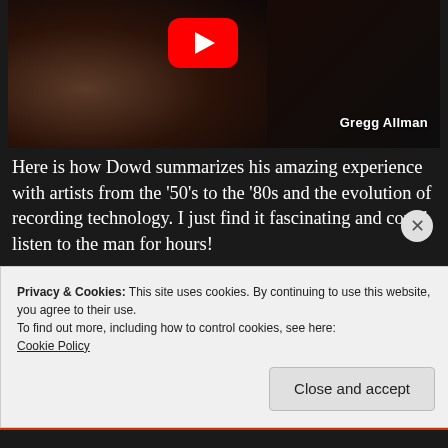[Figure (screenshot): YouTube video thumbnail showing Gregg Allman sitting with arms crossed, wearing a blue shirt. A red YouTube play button is visible in the upper center. The name 'Gregg Allman' appears in white text at the lower right of the thumbnail.]
Here is how Dowd summarizes his amazing experience with artists from the ’50’s to the ’80s and the evolution of recording technology. I just find it fascinating and could listen to the man for hours!
Privacy & Cookies: This site uses cookies. By continuing to use this website, you agree to their use.
To find out more, including how to control cookies, see here:
Cookie Policy
Close and accept